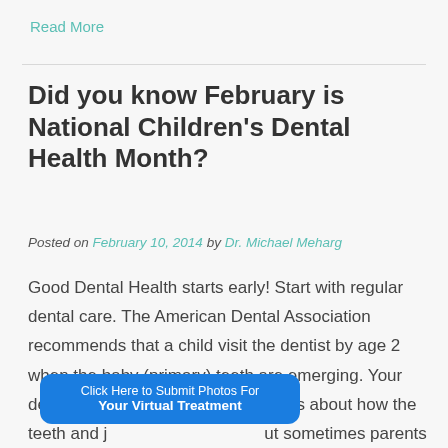Read More
Did you know February is National Children's Dental Health Month?
Posted on February 10, 2014 by Dr. Michael Meharg
Good Dental Health starts early!  Start with regular dental care. The American Dental Association recommends that a child visit the dentist by age 2 when the baby (primary) teeth are emerging.  Your dentist can alert you to any concerns about how the teeth and j...ut sometimes parents...
[Figure (other): Blue rounded rectangle banner button with text 'Click Here to Submit Photos For Your Virtual Treatment']